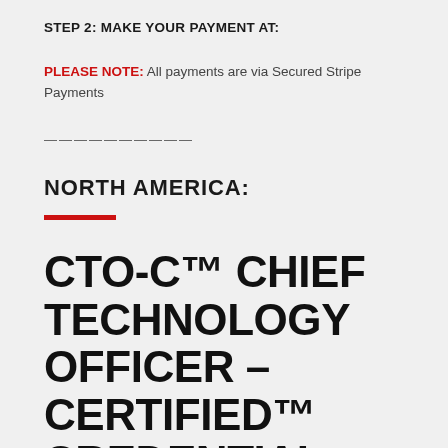STEP 2: MAKE YOUR PAYMENT AT:
PLEASE NOTE: All payments are via Secured Stripe Payments
——————————
NORTH AMERICA:
CTO-C™ CHIEF TECHNOLOGY OFFICER – CERTIFIED™ CREDENTIAL CERTIFICATION (USA, CANADA, MEXICO)